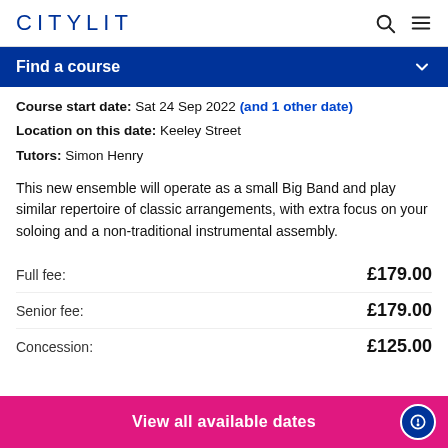CITYLIT
Find a course
Course start date: Sat 24 Sep 2022 (and 1 other date)
Location on this date: Keeley Street
Tutors: Simon Henry
This new ensemble will operate as a small Big Band and play similar repertoire of classic arrangements, with extra focus on your soloing and a non-traditional instrumental assembly.
Full fee: £179.00
Senior fee: £179.00
Concession: £125.00
View all available dates